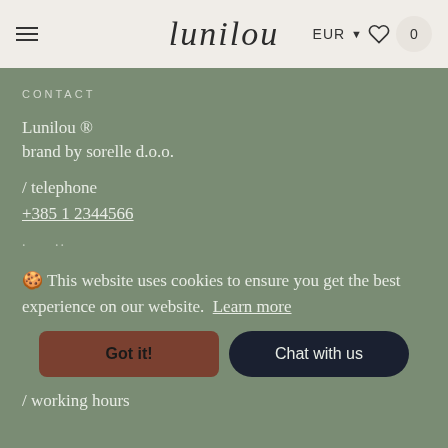lunilou — EUR ♡ 0
CONTACT
Lunilou ®
brand by sorelle d.o.o.
/ telephone
+385 1 2344566
. ..
🍪 This website uses cookies to ensure you get the best experience on our website. Learn more
Got it!  |  Chat with us
/ working hours